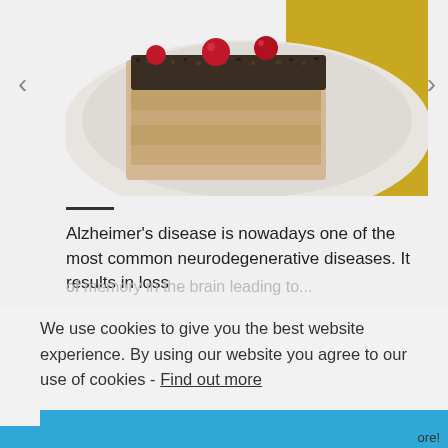[Figure (photo): Photo of a food item (cake/pastry with cream, seeds/nuts topping, and red berries/cherries) on a white plate with yellow background]
Alzheimer's disease is nowadays one of the most common neurodegenerative diseases. It results in loss of...
We use cookies to give you the best website experience. By using our website you agree to our use of cookies - Find out more
CLOSE
ore!